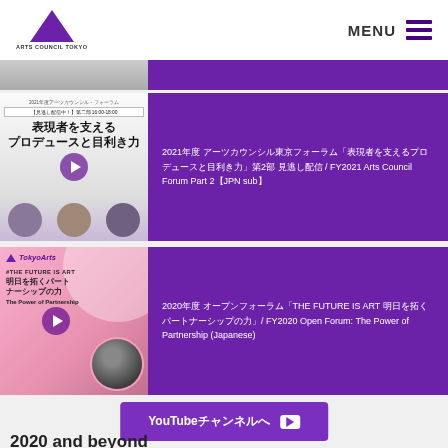ARTS COUNCIL TOKYO — MENU
[Figure (screenshot): Partial video thumbnail strip at top (gray/blurred image)]
[Figure (screenshot): Video thumbnail for FY2021 Arts Council Forum Part 2 showing Japanese text '表現者を支えるプロデュースと目利き力' with three speakers]
2021年度 アーツカウンシル東京フォーラム「表現者を支えるプロデュースと目利き力」第2部 見逃し配信 / FY2021 Arts Council Forum Part 2【JPN sub】
[Figure (screenshot): Video thumbnail for FY2020 Open Forum showing '#THE FUTURE IS ART 明日を拓くパートナーシップの力 The Power of Partnership' on pink background]
2020年度 オープンフォーラム「THE FUTURE IS ART 明日を拓くパートナーシップの力」/ FY2020 Open Forum: The Power of Partnership (Japanese)
YouTubeチャンネルへ
2020 and beyond